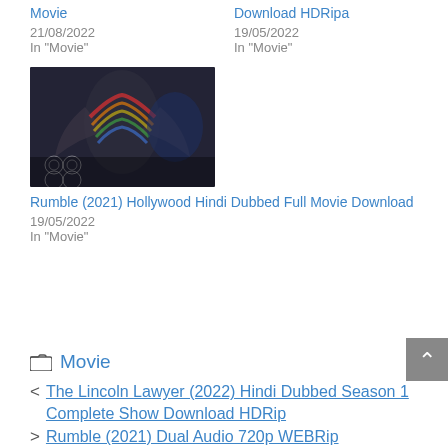Movie
21/08/2022
In "Movie"
Download HDRipa
19/05/2022
In "Movie"
[Figure (photo): Thumbnail image for Rumble (2021) Hollywood Hindi Dubbed Full Movie Download - dark background with stylized monster/creature figures]
Rumble (2021) Hollywood Hindi Dubbed Full Movie Download
19/05/2022
In "Movie"
Movie
< The Lincoln Lawyer (2022) Hindi Dubbed Season 1 Complete Show Download HDRip
> Rumble (2021) Dual Audio 720p WEBRip